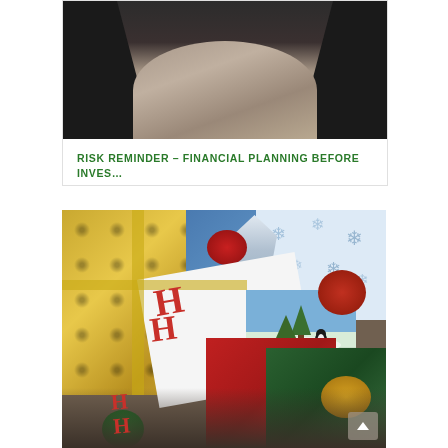[Figure (photo): Photo of a person sitting and looking down at rocky/sandy ground between their knees, wearing dark pants]
RISK REMINDER – FINANCIAL PLANNING BEFORE INVES…
[Figure (photo): Photo of holiday gifts and wrapping paper with bows, ribbons, and cards including text 'HH' and 'Happy Holidays']